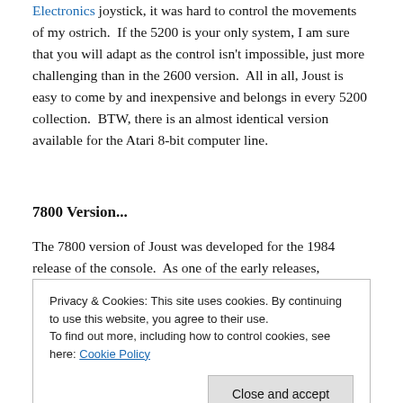Electronics joystick, it was hard to control the movements of my ostrich.  If the 5200 is your only system, I am sure that you will adapt as the control isn't impossible, just more challenging than in the 2600 version.  All in all, Joust is easy to come by and inexpensive and belongs in every 5200 collection.  BTW, there is an almost identical version available for the Atari 8-bit computer line.
7800 Version...
The 7800 version of Joust was developed for the 1984 release of the console.  As one of the early releases,
Privacy & Cookies: This site uses cookies. By continuing to use this website, you agree to their use.
To find out more, including how to control cookies, see here: Cookie Policy
Close and accept
featuring more advanced atti...